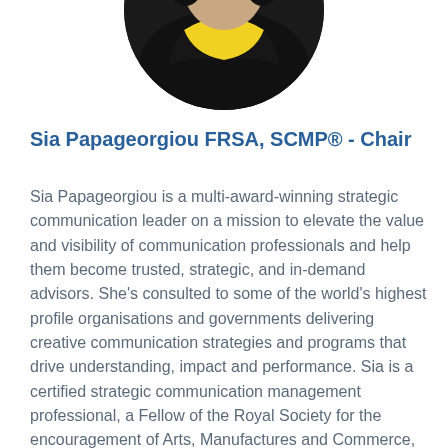[Figure (photo): Circular portrait photo of Sia Papageorgiou, showing top portion — black and yellow clothing visible, dark background]
Sia Papageorgiou FRSA, SCMP® - Chair
Sia Papageorgiou is a multi-award-winning strategic communication leader on a mission to elevate the value and visibility of communication professionals and help them become trusted, strategic, and in-demand advisors. She's consulted to some of the world's highest profile organisations and governments delivering creative communication strategies and programs that drive understanding, impact and performance. Sia is a certified strategic communication management professional, a Fellow of the Royal Society for the encouragement of Arts, Manufactures and Commerce, and past president of the Victorian chapter of the International Association...